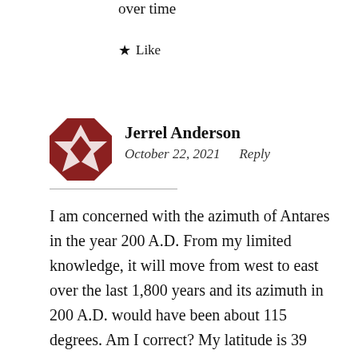over time
★ Like
[Figure (illustration): Red quilt-pattern avatar icon for user Jerrel Anderson]
Jerrel Anderson
October 22, 2021    Reply
I am concerned with the azimuth of Antares in the year 200 A.D. From my limited knowledge, it will move from west to east over the last 1,800 years and its azimuth in 200 A.D. would have been about 115 degrees. Am I correct? My latitude is 39 degrees and 22 minutes and long is about 83 degrees and 4 minutes. The azimuth of Antares today is 140 degrees.